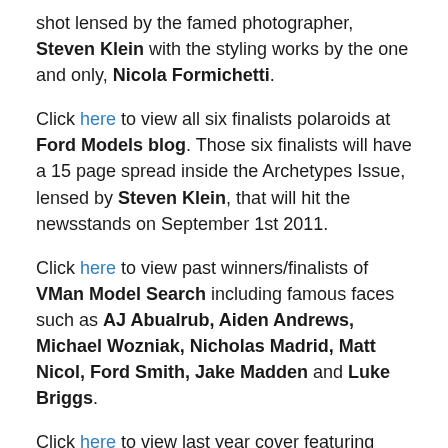shot lensed by the famed photographer, Steven Klein with the styling works by the one and only, Nicola Formichetti.
Click here to view all six finalists polaroids at Ford Models blog. Those six finalists will have a 15 page spread inside the Archetypes Issue, lensed by Steven Klein, that will hit the newsstands on September 1st 2011.
Click here to view past winners/finalists of VMan Model Search including famous faces such as AJ Abualrub, Aiden Andrews, Michael Wozniak, Nicholas Madrid, Matt Nicol, Ford Smith, Jake Madden and Luke Briggs.
Click here to view last year cover featuring Josh Brolin and here for 2009 cover featuring James Franco.
Images via Male Model Scene.